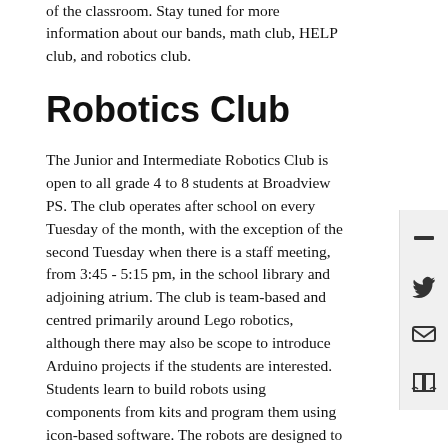of the classroom. Stay tuned for more information about our bands, math club, HELP club, and robotics club.
Robotics Club
The Junior and Intermediate Robotics Club is open to all grade 4 to 8 students at Broadview PS. The club operates after school on every Tuesday of the month, with the exception of the second Tuesday when there is a staff meeting, from 3:45 - 5:15 pm, in the school library and adjoining atrium. The club is team-based and centred primarily around Lego robotics, although there may also be scope to introduce Arduino projects if the students are interested. Students learn to build robots using components from kits and program them using icon-based software. The robots are designed to accomplish tasks and solve challenges. Problem solving, logical thinking, and fun are emphasized. The club is run by parent volunteers, Barbara and John Bainbridge, and staff members, Virginia Harrison and Frank Laurin.